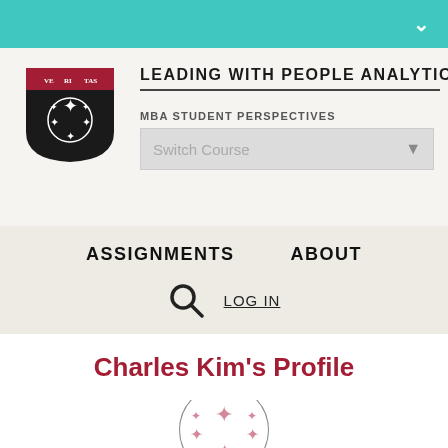[Figure (logo): Teal navigation bar with chevron/dropdown arrow on right side]
[Figure (logo): Harvard shield/crest logo in black and crimson]
LEADING WITH PEOPLE ANALYTICS
MBA STUDENT PERSPECTIVES
Switch Course
ASSIGNMENTS   ABOUT
LOG IN
Charles Kim's Profile
[Figure (logo): Circular profile avatar showing a pink/rose pattern resembling the Harvard shield design]